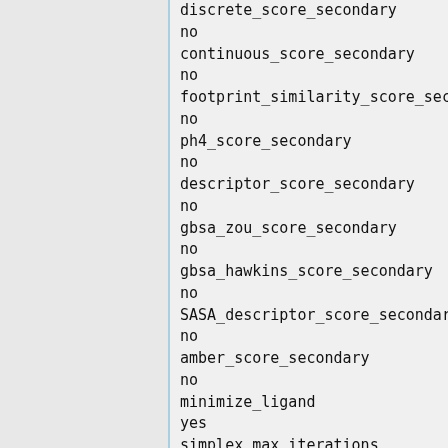discrete_score_secondary
no
continuous_score_secondary
no
footprint_similarity_score_secondary
no
ph4_score_secondary
no
descriptor_score_secondary
no
gbsa_zou_score_secondary
no
gbsa_hawkins_score_secondary
no
SASA_descriptor_score_secondary
no
amber_score_secondary
no
minimize_ligand
yes
simplex_max_iterations
1000
simplex_tors_premin_iterations
0
simplex_max_cycles
1